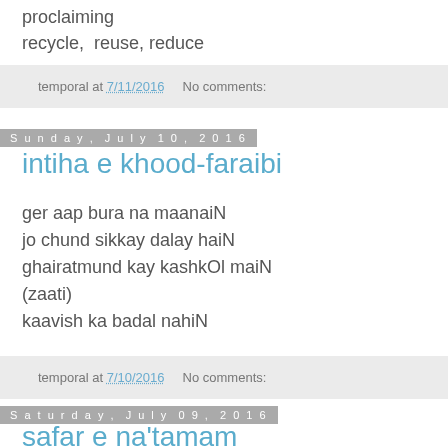proclaiming
recycle,  reuse, reduce
temporal at 7/11/2016    No comments:
Sunday, July 10, 2016
intiha e khood-faraibi
ger aap bura na maanaiN
jo chund sikkay dalay haiN
ghairatmund kay kashkOl maiN
(zaati)
kaavish ka badal nahiN
temporal at 7/10/2016    No comments:
Saturday, July 09, 2016
safar e na'tamam